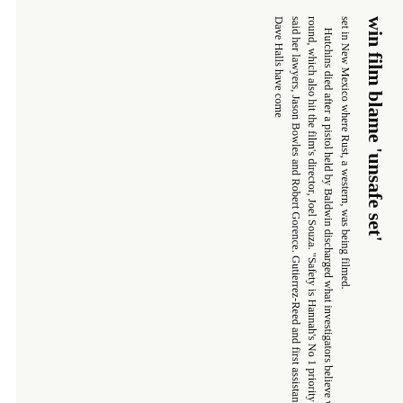win film blame 'unsafe set'
set in New Mexico where Rust, a western, was being filmed. Hutchins died after a pistol held by Baldwin discharged what investigators believe was a live round, which also hit the film's director, Joel Souza. "Safety is Hannah's No 1 priority on set," said her lawyers, Jason Bowles and Robert Gorence. Gutierrez-Reed and first assistant director Dave Halls have come
under the spotlight, following accounts of crew walking off set before the fatal shooting over safety fears. Halls, who has also retained counsel, mistakenly told Baldwin that the gun held no live ammunition, according to witness affidavits. No decision has been made about any criminal charges.
Guardian staff and agencies
27